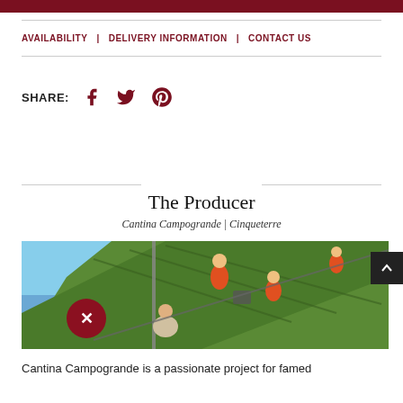AVAILABILITY | DELIVERY INFORMATION | CONTACT US
SHARE:
The Producer
Cantina Campogrande | Cinqueterre
[Figure (photo): Workers in orange jumpsuits harvesting grapes on a steep hillside vineyard in Cinqueterre, with the sea visible in the background.]
Cantina Campogrande is a passionate project for famed